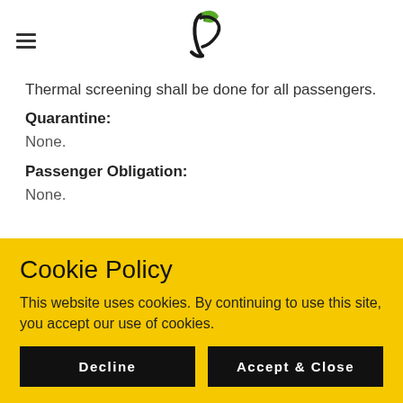Thermal screening shall be done for all passengers.
Quarantine:
None.
Passenger Obligation:
None.
Cookie Policy
This website uses cookies. By continuing to use this site, you accept our use of cookies.
Decline
Accept & Close